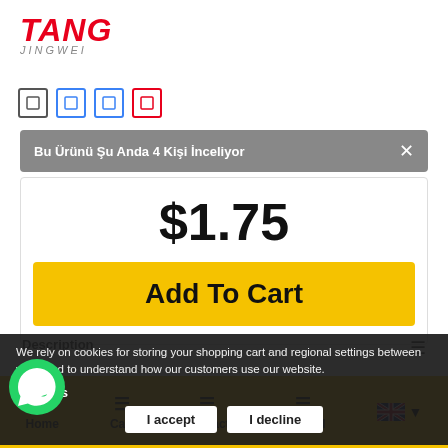[Figure (logo): TANG JINGWEI logo in red italic text]
[Figure (other): Social media icon row: outline icons for various platforms]
Bu Ürünü Şu Anda 4 Kişi İnceliyor
$1.75
Add To Cart
Description
We rely on cookies for storing your shopping cart and regional settings between visits and to understand how our customers use our website.
Reviews
I accept
I decline
Home   Cart   Contact   Post Ad